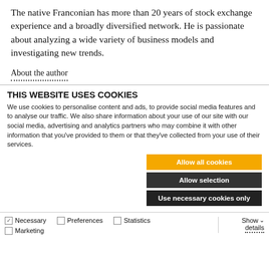The native Franconian has more than 20 years of stock exchange experience and a broadly diversified network. He is passionate about analyzing a wide variety of business models and investigating new trends.
About the author
THIS WEBSITE USES COOKIES
We use cookies to personalise content and ads, to provide social media features and to analyse our traffic. We also share information about your use of our site with our social media, advertising and analytics partners who may combine it with other information that you've provided to them or that they've collected from your use of their services.
Allow all cookies
Allow selection
Use necessary cookies only
Necessary  Preferences  Statistics  Show details
Marketing